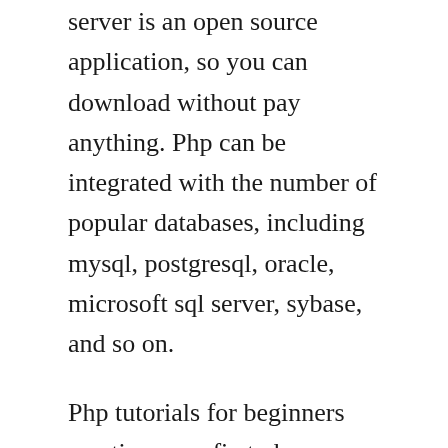server is an open source application, so you can download without pay anything. Php can be integrated with the number of popular databases, including mysql, postgresql, oracle, microsoft sql server, sybase, and so on.
Php tutorials for beginners creating your first php program from scratch. This tutorial helps you to build your base with php. The following official gnupg keys of the current php release manager can be used to verify the tags. First visit the site and download the latest version of fma. This tutorial shows you